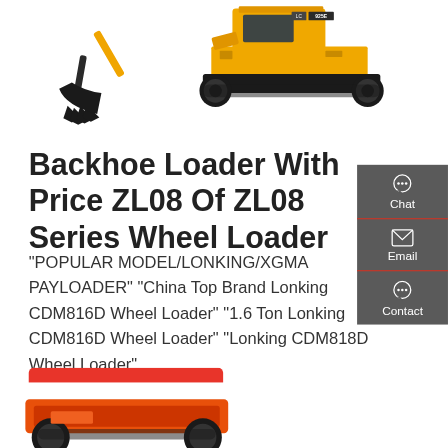[Figure (photo): Top portion of a yellow tracked excavator (model 925E) with bucket attachment visible against white background]
Backhoe Loader With Price ZL08 Of ZL08 Series Wheel Loader
"POPULAR MODEL/LONKING/XGMA PAYLOADER" "China Top Brand Lonking CDM816D Wheel Loader" "1.6 Ton Lonking CDM816D Wheel Loader" "Lonking CDM818D Wheel Loader"
Get a quote
[Figure (screenshot): Sidebar with Chat, Email, and Contact icons on dark grey background]
[Figure (photo): Bottom portion of an orange/red construction equipment visible at the bottom of the page]